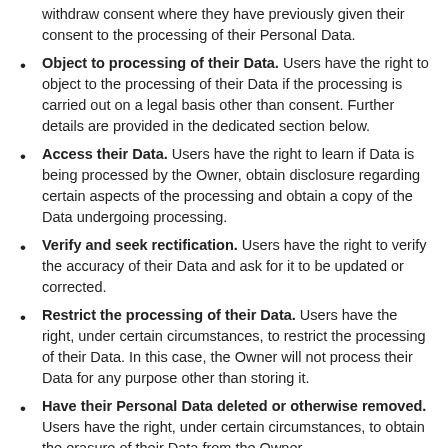withdraw consent where they have previously given their consent to the processing of their Personal Data.
Object to processing of their Data. Users have the right to object to the processing of their Data if the processing is carried out on a legal basis other than consent. Further details are provided in the dedicated section below.
Access their Data. Users have the right to learn if Data is being processed by the Owner, obtain disclosure regarding certain aspects of the processing and obtain a copy of the Data undergoing processing.
Verify and seek rectification. Users have the right to verify the accuracy of their Data and ask for it to be updated or corrected.
Restrict the processing of their Data. Users have the right, under certain circumstances, to restrict the processing of their Data. In this case, the Owner will not process their Data for any purpose other than storing it.
Have their Personal Data deleted or otherwise removed. Users have the right, under certain circumstances, to obtain the erasure of their Data from the Owner.
Receive their Data and have it transferred to another controller. Users have the right to receive their Data in a structured, commonly used and machine readable format and, if technically feasible, to have it transmitted to another controller